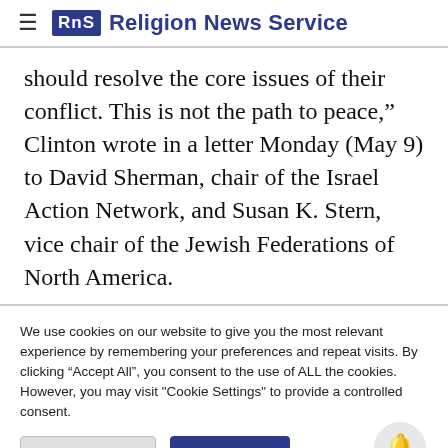RNS Religion News Service
should resolve the core issues of their conflict. This is not the path to peace,” Clinton wrote in a letter Monday (May 9) to David Sherman, chair of the Israel Action Network, and Susan K. Stern, vice chair of the Jewish Federations of North America.
We use cookies on our website to give you the most relevant experience by remembering your preferences and repeat visits. By clicking “Accept All”, you consent to the use of ALL the cookies. However, you may visit "Cookie Settings" to provide a controlled consent.